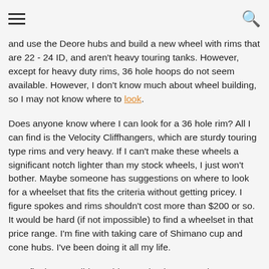[hamburger menu] [site title] [search icon]
and use the Deore hubs and build a new wheel with rims that are 22 - 24 ID, and aren't heavy touring tanks. However, except for heavy duty rims, 36 hole hoops do not seem available. However, I don't know much about wheel building, so I may not know where to look.
Does anyone know where I can look for a 36 hole rim? All I can find is the Velocity Cliffhangers, which are sturdy touring type rims and very heavy. If I can't make these wheels a significant notch lighter than my stock wheels, I just won't bother. Maybe someone has suggestions on where to look for a wheelset that fits the criteria without getting pricey. I figure spokes and rims shouldn't cost more than $200 or so. It would be hard (if not impossible) to find a wheelset in that price range. I'm fine with taking care of Shimano cup and cone hubs. I've been doing it all my life.
As a final note, I did consider purchasing some decent